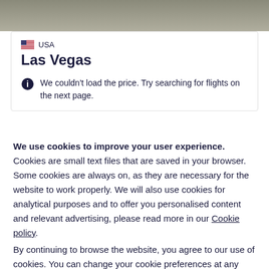[Figure (screenshot): Gray gradient top bar area]
USA
Las Vegas
We couldn't load the price. Try searching for flights on the next page.
We use cookies to improve your user experience. Cookies are small text files that are saved in your browser. Some cookies are always on, as they are necessary for the website to work properly. We will also use cookies for analytical purposes and to offer you personalised content and relevant advertising, please read more in our Cookie policy.
By continuing to browse the website, you agree to our use of cookies. You can change your cookie preferences at any time.
Close
Set your cookie preferences